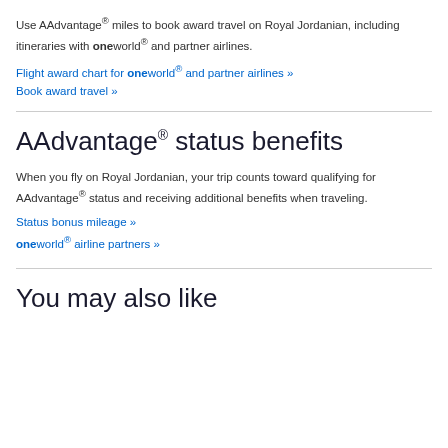Use AAdvantage® miles to book award travel on Royal Jordanian, including itineraries with oneworld® and partner airlines.
Flight award chart for oneworld® and partner airlines »
Book award travel »
AAdvantage® status benefits
When you fly on Royal Jordanian, your trip counts toward qualifying for AAdvantage® status and receiving additional benefits when traveling.
Status bonus mileage »
oneworld® airline partners »
You may also like